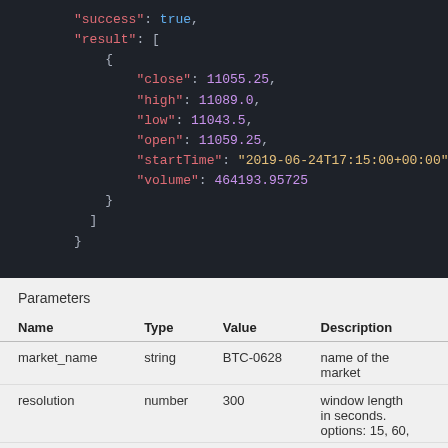[Figure (screenshot): JSON code block with syntax highlighting on dark background showing API response with fields: success, result array with close, high, low, open, startTime, volume fields]
Parameters
| Name | Type | Value | Description |
| --- | --- | --- | --- |
| market_name | string | BTC-0628 | name of the market |
| resolution | number | 300 | window length in seconds. options: 15, 60, |